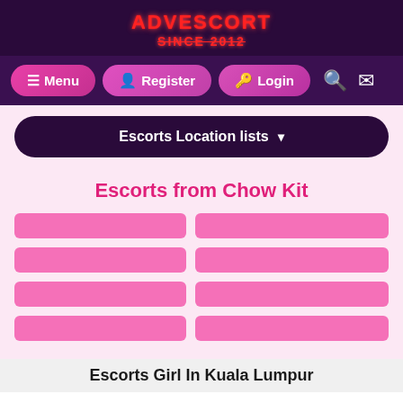[Figure (screenshot): Website header with ADVESCORT logo in red neon style text, SINCE 2012 below in strikethrough, on dark purple background]
[Figure (screenshot): Navigation bar with Menu, Register, Login buttons in pink/magenta gradient, search and mail icons, on dark purple background]
[Figure (screenshot): Escorts Location lists dropdown button on light pink background]
Escorts from Chow Kit
[Figure (screenshot): Eight pink placeholder card bars in a 2-column grid layout on light pink background]
Escorts Girl In Kuala Lumpur